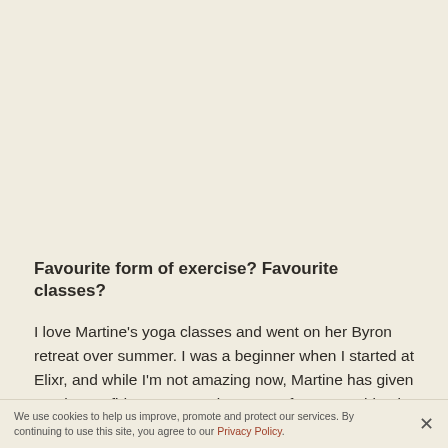Favourite form of exercise? Favourite classes?
I love Martine's yoga classes and went on her Byron retreat over summer. I was a beginner when I started at Elixr, and while I'm not amazing now, Martine has given me the confidence to practise more often. Stretching in general is also total bliss. I have big stretch sessions at home while
We use cookies to help us improve, promote and protect our services. By continuing to use this site, you agree to our Privacy Policy.